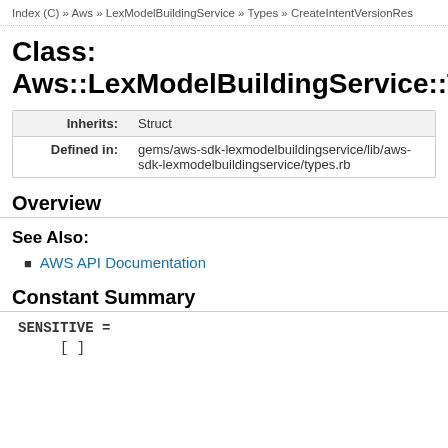Index (C) » Aws » LexModelBuildingService » Types » CreateIntentVersionRes
Class:
Aws::LexModelBuildingService::Typ
| Inherits: | Struct |
| Defined in: | gems/aws-sdk-lexmodelbuildingservice/lib/aws-sdk-lexmodelbuildingservice/types.rb |
Overview
See Also:
AWS API Documentation
Constant Summary
SENSITIVE =
[ ]